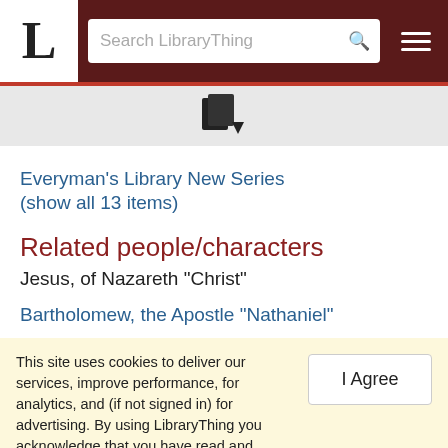LibraryThing — Search LibraryThing header navigation
[Figure (other): LibraryThing book/document icon with dropdown arrow]
Everyman's Library New Series
(show all 13 items)
Related people/characters
Jesus, of Nazareth "Christ"
Bartholomew, the Apostle "Nathaniel"
This site uses cookies to deliver our services, improve performance, for analytics, and (if not signed in) for advertising. By using LibraryThing you acknowledge that you have read and understand our Terms of Service and Privacy Policy. Your use of the site and services is subject to these policies and terms.